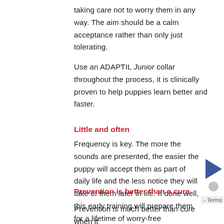taking care not to worry them in any way. The aim should be a calm acceptance rather than only just tolerating.
Use an ADAPTIL Junior collar throughout the process, it is clinically proven to help puppies learn better and faster.
Little and often
Frequency is key. The more the sounds are presented, the easier the puppy will accept them as part of daily life and the less notice they will take of them later in life. If done well, this early training will prepare them for a lifetime of worry-free celebrations.
Prevention is better than a cure
Prevention is much better than cure when it